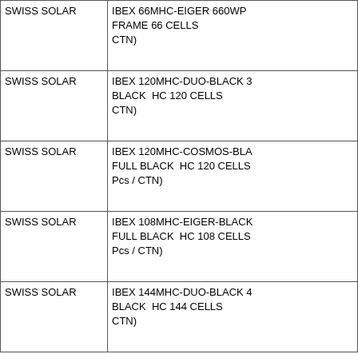| Brand | Product Description |
| --- | --- |
| SWISS SOLAR | IBEX 66MHC-EIGER 660WP
FRAME 66 CELLS
CTN) |
| SWISS SOLAR | IBEX 120MHC-DUO-BLACK 3
BLACK  HC 120 CELLS
CTN) |
| SWISS SOLAR | IBEX 120MHC-COSMOS-BLA
FULL BLACK  HC 120 CELLS
Pcs / CTN) |
| SWISS SOLAR | IBEX 108MHC-EIGER-BLACK
FULL BLACK  HC 108 CELLS
Pcs / CTN) |
| SWISS SOLAR | IBEX 144MHC-DUO-BLACK 4
BLACK  HC 144 CELLS
CTN) |